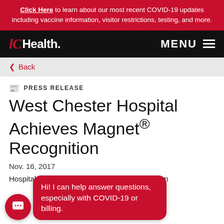Click Here to learn about our most recent COVID-19 updates including vaccine information, visitor restrictions, testing, and more.
UC Health. MENU
< Back
PRESS RELEASE
West Chester Hospital Achieves Magnet® Recognition
Nov. 16, 2017
Hospital has achieved Magnet Recognition from
Hi! I can help answer questions, especially with COVID-19 or billing.